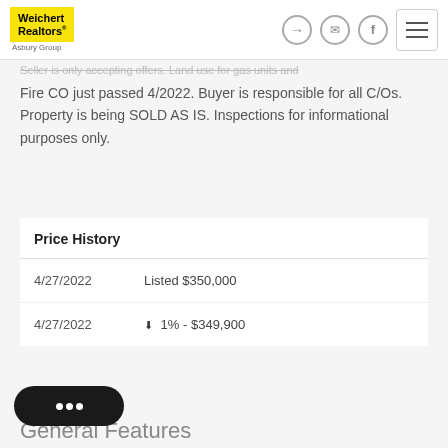Weichert Realtors Asbury Group
Seller is only accepting offers. Land use for gas units and Fire CO just passed 4/2022. Buyer is responsible for all C/Os. Property is being SOLD AS IS. Inspections for informational purposes only.
Price History
| Date | Event |
| --- | --- |
| 4/27/2022 | Listed $350,000 |
| 4/27/2022 | ▼ 1% - $349,900 |
General Features